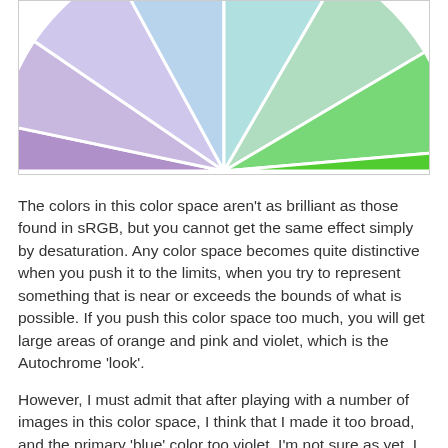[Figure (pie-chart): Partial pie/donut chart showing color wheel segments in pastel shades: purple/lavender, light blue, cyan/mint, light green, and bright green. Only the top portion of the chart is visible, cropped by the image boundary.]
The colors in this color space aren't as brilliant as those found in sRGB, but you cannot get the same effect simply by desaturation. Any color space becomes quite distinctive when you push it to the limits, when you try to represent something that is near or exceeds the bounds of what is possible. If you push this color space too much, you will get large areas of orange and pink and violet, which is the Autochrome 'look'.
However, I must admit that after playing with a number of images in this color space, I think that I made it too broad, and the primary 'blue' color too violet. I'm not sure as yet. I think that I may prefer my Old Autochrome ICC profile.